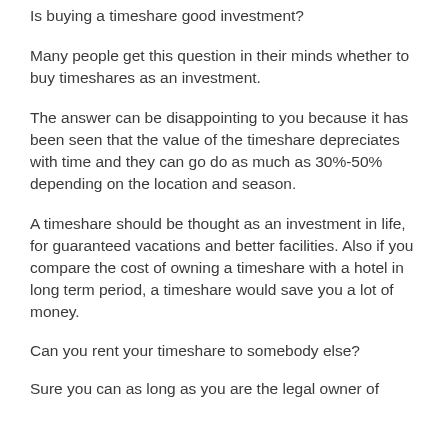Is buying a timeshare good investment?
Many people get this question in their minds whether to buy timeshares as an investment.
The answer can be disappointing to you because it has been seen that the value of the timeshare depreciates with time and they can go do as much as 30%-50% depending on the location and season.
A timeshare should be thought as an investment in life, for guaranteed vacations and better facilities. Also if you compare the cost of owning a timeshare with a hotel in long term period, a timeshare would save you a lot of money.
Can you rent your timeshare to somebody else?
Sure you can as long as you are the legal owner of